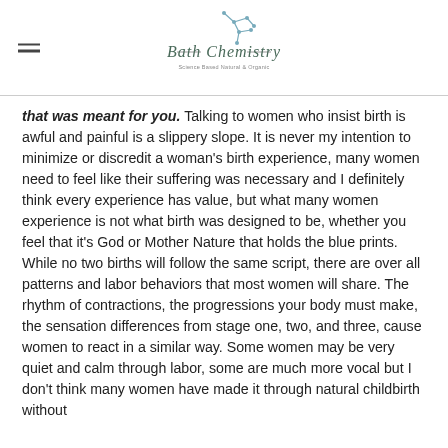Bath Chemistry logo
that was meant for you. Talking to women who insist birth is awful and painful is a slippery slope. It is never my intention to minimize or discredit a woman's birth experience, many women need to feel like their suffering was necessary and I definitely think every experience has value, but what many women experience is not what birth was designed to be, whether you feel that it's God or Mother Nature that holds the blue prints. While no two births will follow the same script, there are over all patterns and labor behaviors that most women will share. The rhythm of contractions, the progressions your body must make, the sensation differences from stage one, two, and three, cause women to react in a similar way. Some women may be very quiet and calm through labor, some are much more vocal but I don't think many women have made it through natural childbirth without